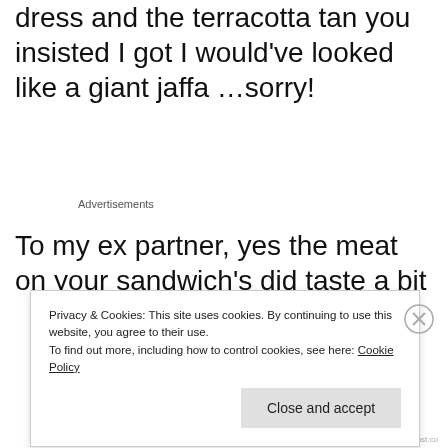dress and the terracotta tan you insisted I got I would've looked like a giant jaffa …sorry!
Advertisements
To my ex partner, yes the meat on your sandwich's did taste a bit
Privacy & Cookies: This site uses cookies. By continuing to use this website, you agree to their use.
To find out more, including how to control cookies, see here: Cookie Policy
Close and accept